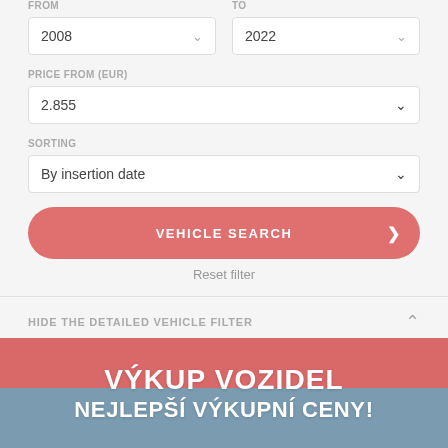FROM
TO
2008
2022
PRICE FROM (EUR)
2.855
SORTING
By insertion date
VEHICLE SEARCH
Reset filter
HIDE THE DETAILED VEHICLE FILTER
[Figure (screenshot): Promotional banner with Czech text: VÝKUP VOZIDEL (top, red background) and NEJLEPŠÍ VÝKUPNÍ CENY! (bottom, blue/grey background with car image)]